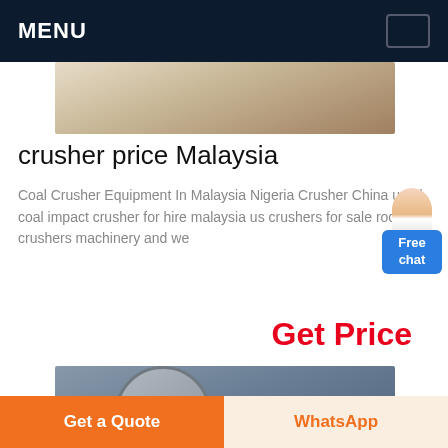MENU
[Figure (photo): Partial top photo showing industrial floor or machinery surface]
crusher price Malaysia
Coal Crusher Equipment In Malaysia Nigeria Crusher China used coal impact crusher for hire malaysia used crushers for sale rock crushers machinery and we
[Figure (other): Free chat widget with avatar and blue button]
Get Price
[Figure (photo): Industrial ball mill machinery in a factory setting]
Get a Quote
WhatsApp